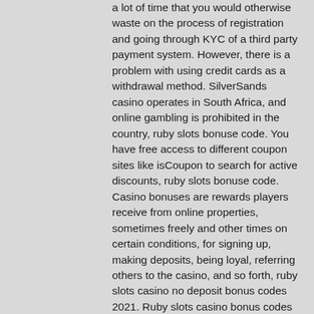a lot of time that you would otherwise waste on the process of registration and going through KYC of a third party payment system. However, there is a problem with using credit cards as a withdrawal method. SilverSands casino operates in South Africa, and online gambling is prohibited in the country, ruby slots bonuse code. You have free access to different coupon sites like isCoupon to search for active discounts, ruby slots bonuse code. Casino bonuses are rewards players receive from online properties, sometimes freely and other times on certain conditions, for signing up, making deposits, being loyal, referring others to the casino, and so forth, ruby slots casino no deposit bonus codes 2021. Ruby slots casino bonus codes ➤ exclusive $50 no deposit bonus code ✓ $1000 match bonus ✓ play hundreds of slots for free. Ruby slots casino no deposit bonus codes ✓ validated on 06 april, 2022 ✓ 30 no deposit free spins